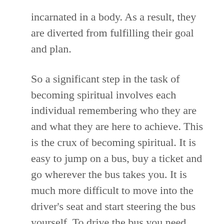incarnated in a body. As a result, they are diverted from fulfilling their goal and plan.
So a significant step in the task of becoming spiritual involves each individual remembering who they are and what they are here to achieve. This is the crux of becoming spiritual. It is easy to jump on a bus, buy a ticket and go wherever the bus takes you. It is much more difficult to move into the driver's seat and start steering the bus yourself. To drive the bus you need knowledge and skill. And you need the intent to drive the bus in the first place. Which means you need to become aware that it is possible to drive the bus, that you have that choice.
There are many barriers preventing individuals